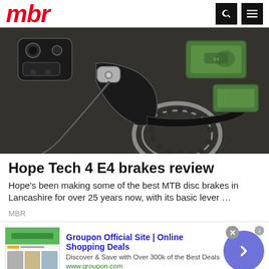mbr
[Figure (photo): Overhead photo of Hope Tech 4 E4 mountain bike disc brake components including brake lever, caliper, brake pads (green), and a perforated disc rotor on a dark surface.]
Hope Tech 4 E4 brakes review
Hope's been making some of the best MTB disc brakes in Lancashire for over 25 years now, with its basic lever …
MBR
[Figure (screenshot): Advertisement for Groupon Official Site | Online Shopping Deals. Discover & Save with Over 300k of the Best Deals. www.groupon.com]